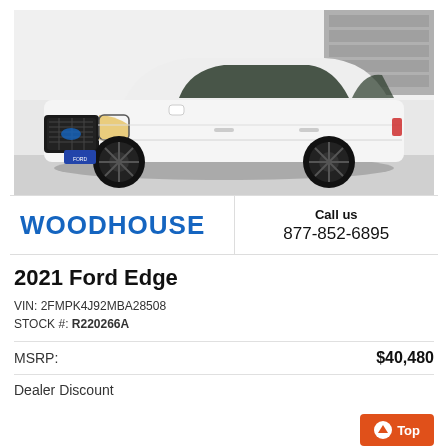[Figure (photo): White 2021 Ford Edge SUV photographed in a dealership garage with white walls and a partially visible garage door in the background]
WOODHOUSE
Call us
877-852-6895
2021 Ford Edge
VIN: 2FMPK4J92MBA28508
STOCK #: R220266A
MSRP:  $40,480
Dealer Discount